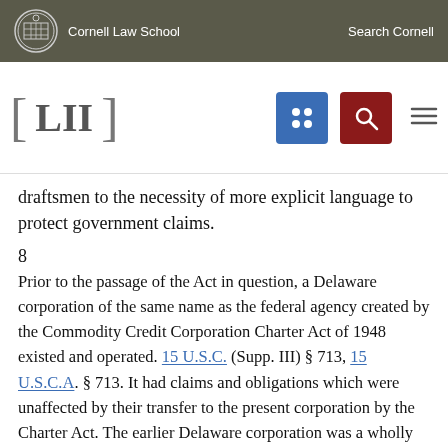Cornell Law School  Search Cornell
draftsmen to the necessity of more explicit language to protect government claims.
8
Prior to the passage of the Act in question, a Delaware corporation of the same name as the federal agency created by the Commodity Credit Corporation Charter Act of 1948 existed and operated. 15 U.S.C. (Supp. III) § 713, 15 U.S.C.A. § 713. It had claims and obligations which were unaffected by their transfer to the present corporation by the Charter Act. The earlier Delaware corporation was a wholly owned agency of the United States without statutory limitation, state or federal, on its right to sue upon its claims.